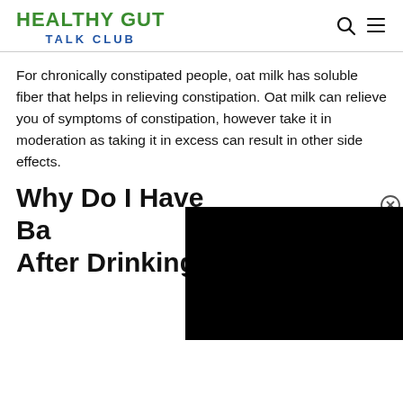HEALTHY GUT TALK CLUB
For chronically constipated people, oat milk has soluble fiber that helps in relieving constipation. Oat milk can relieve you of symptoms of constipation, however take it in moderation as taking it in excess can result in other side effects.
Why Do I Have Ba After Drinking
[Figure (other): Black video player overlay with close button]
There are few reasons for heartburn to occur after drinking water. If your stomach is full from the previous meal and if you drink excess of water, the volume and pressure of stomach may increase substantially. As a result, there is a possibility of...